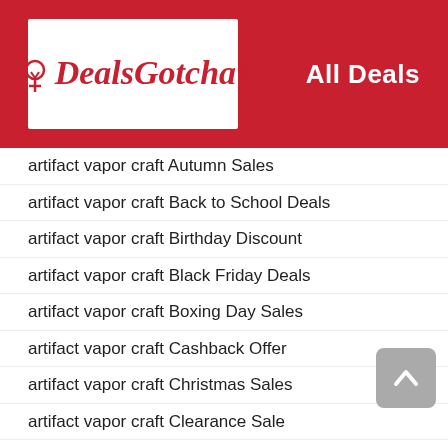DealsGotcha! All Deals
artifact vapor craft Autumn Sales
artifact vapor craft Back to School Deals
artifact vapor craft Birthday Discount
artifact vapor craft Black Friday Deals
artifact vapor craft Boxing Day Sales
artifact vapor craft Cashback Offer
artifact vapor craft Christmas Sales
artifact vapor craft Clearance Sale
artifact vapor craft Cyber Monday Deals
artifact vapor craft Daily Deals
artifact vapor craft Discount Code
artifact vapor craft Discount Coupon
artifact vapor craft Easter Deals
artifact vapor craft Employee Discount